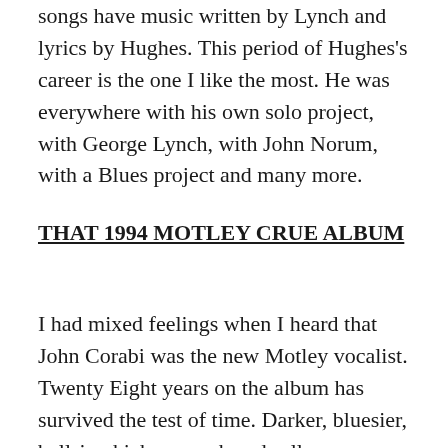songs have music written by Lynch and lyrics by Hughes. This period of Hughes's career is the one I like the most. He was everywhere with his own solo project, with George Lynch, with John Norum, with a Blues project and many more.
THAT 1994 MOTLEY CRUE ALBUM
I had mixed feelings when I heard that John Corabi was the new Motley vocalist. Twenty Eight years on the album has survived the test of time. Darker, bluesier, ballsier, kick-ass rock and roll.